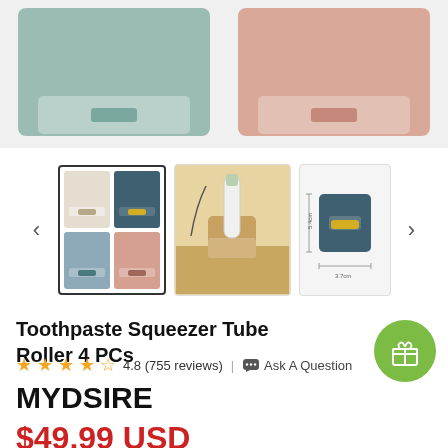[Figure (photo): Two toothpaste tube roller/squeezer holders shown side by side — one teal/green color on the left, one pink/salmon color on the right, photographed against a light background from above showing their drawer-like design.]
[Figure (photo): Thumbnail image 1: four-color grid showing toothpaste tube roller squeezers in beige, navy, blue-grey, and pink colorways, each with yellow handle. Active/selected thumbnail.]
[Figure (photo): Thumbnail image 2: lifestyle photo showing toothpaste tube being squeezed in a wooden-colored squeezer holder on a table.]
[Figure (photo): Thumbnail image 3: product dimension/measurement diagram showing the navy blue toothpaste squeezer with size annotations.]
Toothpaste Squeezer Tube Roller 4 PCs
4.8 (755 reviews) | Ask A Question
MYDSIRE
$49.99 USD